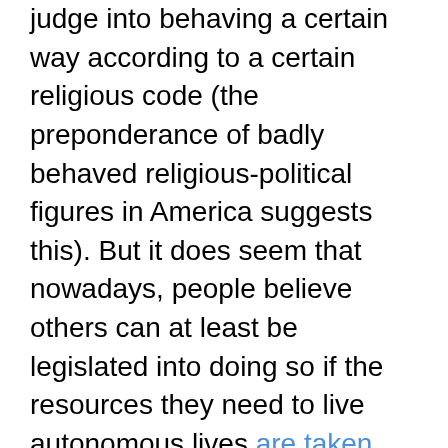judge into behaving a certain way according to a certain religious code (the preponderance of badly behaved religious-political figures in America suggests this). But it does seem that nowadays, people believe others can at least be legislated into doing so if the resources they need to live autonomous lives are taken away, as they were in Indiana and Minnesota with the de-funding of Planned Parenthood. In the most recent surge in the GOP's war on women, I was amazed at the degree to which women's bodies are considered the righteous business of others.

And then I realized that not very deep down, I have trouble remembering that my body is not anyone's business but my own. It's why my stomach jumps every fourth Tuesday if